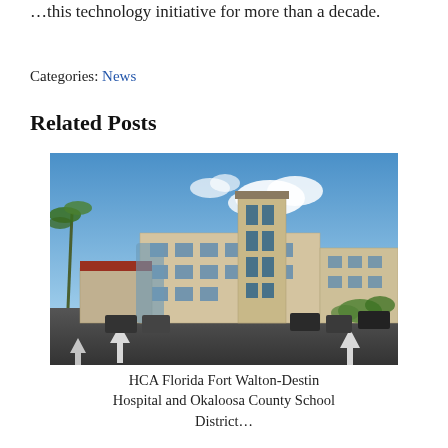…this technology initiative for more than a decade.
Categories: News
Related Posts
[Figure (photo): Architectural rendering of HCA Florida Fort Walton-Destin Hospital building exterior showing a multi-story tan/beige building with a central tower, blue sky with clouds, palm trees, and a parking lot in the foreground.]
HCA Florida Fort Walton-Destin Hospital and Okaloosa County School District…